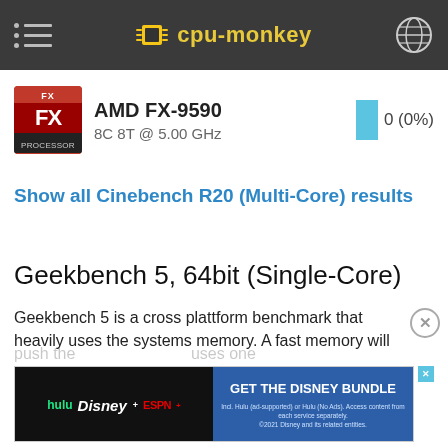cpu-monkey
AMD FX-9590
8C 8T @ 5.00 GHz
0 (0%)
Show all Cinebench R20 (Multi-Core) results
Geekbench 5, 64bit (Single-Core)
Geekbench 5 is a cross plattform benchmark that heavily uses the systems memory. A fast memory will push the score a lot. It uses one CPU core and measures the single core computing ability. The GPU doesn't count.
[Figure (screenshot): Advertisement banner for Disney Bundle featuring Hulu, Disney+, ESPN+ with GET THE DISNEY BUNDLE call to action]